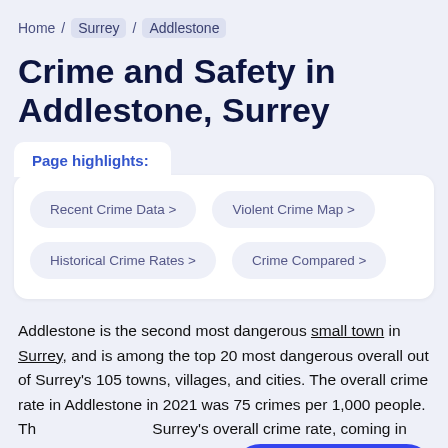Home / Surrey / Addlestone
Crime and Safety in Addlestone, Surrey
Page highlights:
Recent Crime Data >
Violent Crime Map >
Historical Crime Rates >
Crime Compared >
Addlestone is the second most dangerous small town in Surrey, and is among the top 20 most dangerous overall out of Surrey's 105 towns, villages, and cities. The overall crime rate in Addlestone in 2021 was 75 crimes per 1,000 people. Th Surrey's overall crime rate, coming in 35 rate of 49 per 1,000 residents. For England, Wales, and Northern